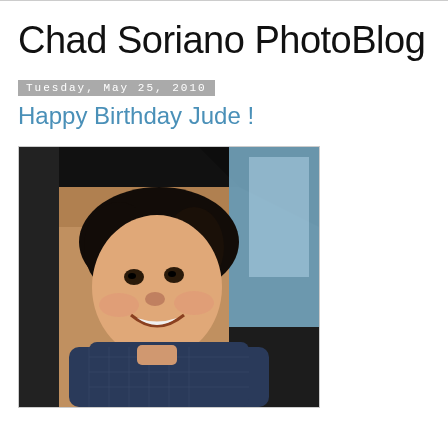Chad Soriano PhotoBlog
Tuesday, May 25, 2010
Happy Birthday Jude !
[Figure (photo): A smiling young boy with dark hair wearing a blue plaid shirt, sitting inside a car, leaning out toward the camera.]